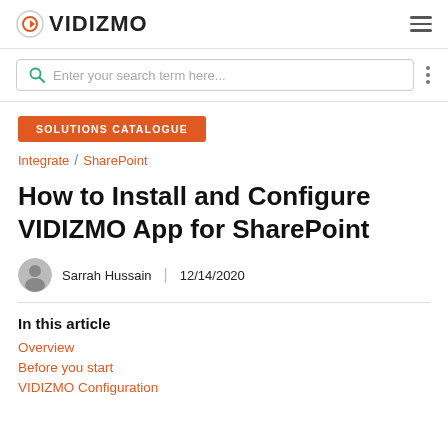VIDIZMO
Enter your search term here...
SOLUTIONS CATALOGUE
Integrate / SharePoint
How to Install and Configure VIDIZMO App for SharePoint
Sarrah Hussain  12/14/2020
In this article
Overview
Before you start
VIDIZMO Configuration